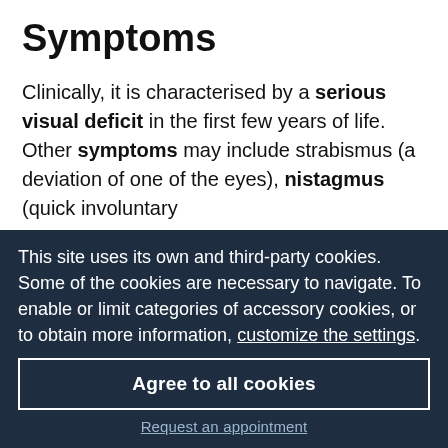Symptoms
Clinically, it is characterised by a serious visual deficit in the first few years of life. Other symptoms may include strabismus (a deviation of one of the eyes), nistagmus (quick involuntary movements of the eye as its impossible to stare) and photophobia (abnormal sensitivity to light). Frequently, children affected by this disease close their eyes and fists at the same time (it is called Franceschetti's oculo-digital sign). In addition, some children may suffer from a loss of hearing, neurological changes or psychomotor...
This site uses its own and third-party cookies. Some of the cookies are necessary to navigate. To enable or limit categories of accessory cookies, or to obtain more information, customize the settings.
Agree to all cookies
Request an appointment